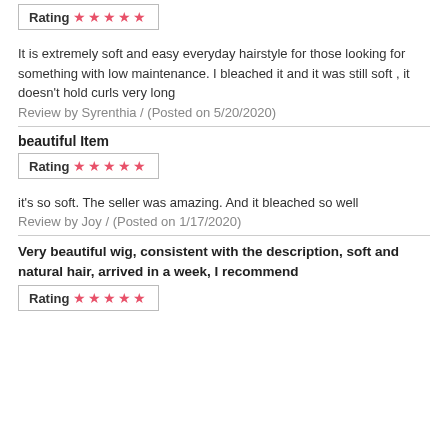Rating ★★★★★
It is extremely soft and easy everyday hairstyle for those looking for something with low maintenance. I bleached it and it was still soft , it doesn't hold curls very long
Review by Syrenthia / (Posted on 5/20/2020)
beautiful Item
Rating ★★★★★
it's so soft. The seller was amazing. And it bleached so well
Review by Joy / (Posted on 1/17/2020)
Very beautiful wig, consistent with the description, soft and natural hair, arrived in a week, I recommend
Rating ★★★★★